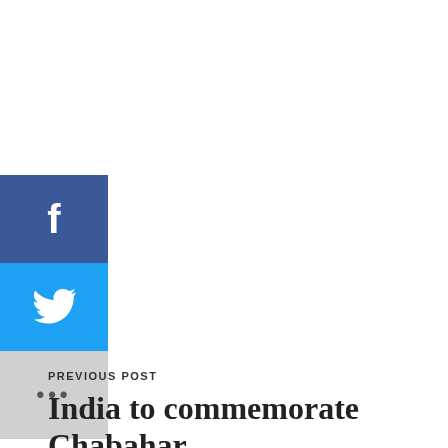[Figure (other): Facebook share button - blue square with white 'f' icon]
[Figure (other): Twitter share button - blue square with white bird icon]
[Figure (other): More share options button - gray square with ellipsis '...' icon]
PREVIOUS POST
India to commemorate Chabahar